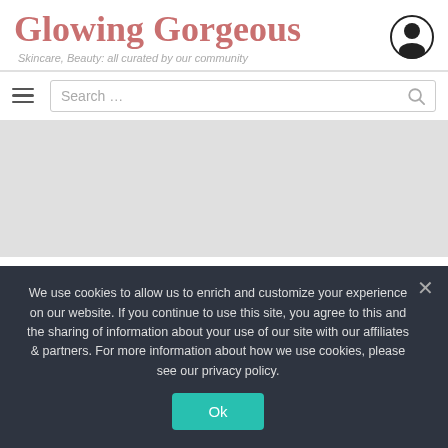Glowing Gorgeous
Skincare, Beauty: all curated by our community
[Figure (screenshot): Navigation bar with hamburger menu icon and search box]
[Figure (photo): Article header image area (grey placeholder)]
This article was taken from Cherie to make it available
We use cookies to allow us to enrich and customize your experience on our website. If you continue to use this site, you agree to this and the sharing of information about our use of our site with our affiliates & partners. For more information about how we use cookies, please see our privacy policy.